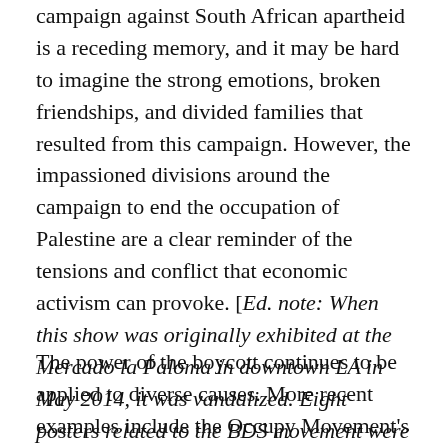campaign against South African apartheid is a receding memory, and it may be hard to imagine the strong emotions, broken friendships, and divided families that resulted from this campaign. However, the impassioned divisions around the campaign to end the occupation of Palestine are a clear reminder of the tensions and conflict that economic activism can provoke. [Ed. note: When this show was originally exhibited at the Mercado la Paloma in downtown LA in May 2014, it was vandalized. Eight posters related to the BDS movement were torn down; three were stolen, and the rest were stuffed in a nearby trash can.]
The power of the boycott continues to be applied to diverse causes. More recent examples include the Occupy Movement's mobilization to move money